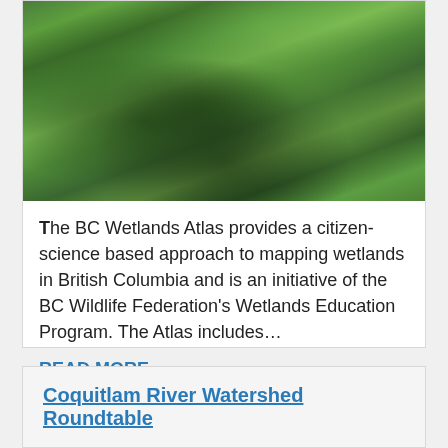[Figure (photo): Aerial or ground-level photo of a wetland area showing dense green vegetation, bushes, and marshy water areas typical of British Columbia wetlands.]
The BC Wetlands Atlas provides a citizen-science based approach to mapping wetlands in British Columbia and is an initiative of the BC Wildlife Federation's Wetlands Education Program. The Atlas includes...
READ MORE
Coquitlam River Watershed Roundtable